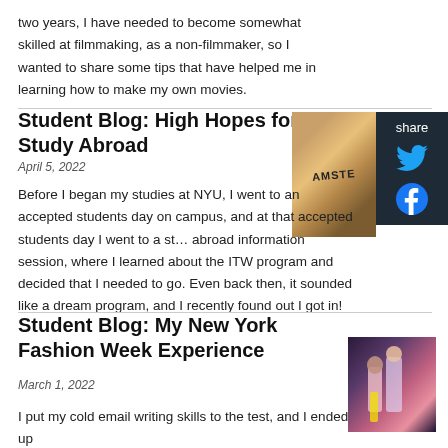two years, I have needed to become somewhat skilled at filmmaking, as a non-filmmaker, so I wanted to share some tips that have helped me in learning how to make my own movies.
Student Blog: High Hopes for Study Abroad
April 5, 2022
[Figure (photo): Photo showing Amsterdam text on a tie-dye or flower background]
[Figure (other): Share panel with Twitter and Facebook icons on dark background]
Before I began my studies at NYU, I went to an accepted students day on campus, and at that accepted students day I went to a study abroad information session, where I learned about the ITW program and decided that I needed to go. Even back then, it sounded like a dream program, and I recently found out I got in!
Student Blog: My New York Fashion Week Experience
March 1, 2022
[Figure (photo): Fashion photo showing people in colorful outfits at New York Fashion Week]
I put my cold email writing skills to the test, and I ended up